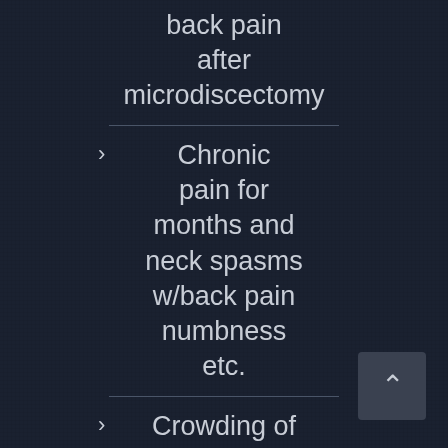back pain after microdiscectomy
Chronic pain for months and neck spasms w/back pain numbness etc.
Crowding of Cauda Equina